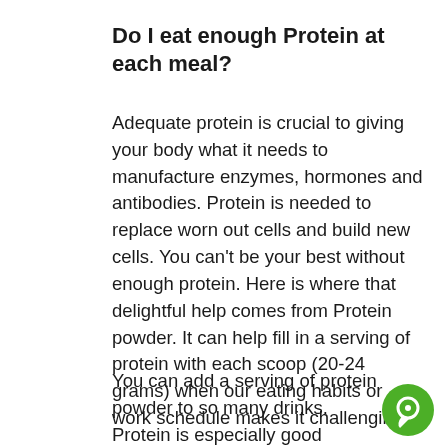Do I eat enough Protein at each meal?
Adequate protein is crucial to giving your body what it needs to manufacture enzymes, hormones and antibodies. Protein is needed to replace worn out cells and build new cells. You can't be your best without enough protein. Here is where that delightful help comes from Protein powder. It can help fill in a serving of protein with each scoop (20-24 grams) when our eating habits or work schedule makes it challenging.
You can add a serving of protein powder to so many drinks. Protein is especially good
[Figure (other): Green circular chat/message button icon in the bottom right corner]